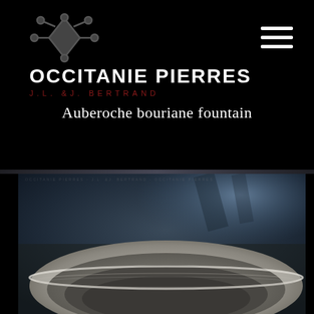[Figure (logo): Occitanie Pierres logo with a cross/crown symbol above the text. Main text: OCCITANIE PIERRES in white bold, subtitle: J.L. &J. BERTRAND in dark red spaced capitals.]
[Figure (illustration): Hamburger menu icon — three horizontal white lines stacked vertically, top-right corner.]
Auberoche bouriane fountain
[Figure (photo): Close-up photograph of a stone fountain basin, circular form carved from grey stone, with blurred outdoor background showing sunlight and shadows on stone/gravel surface.]